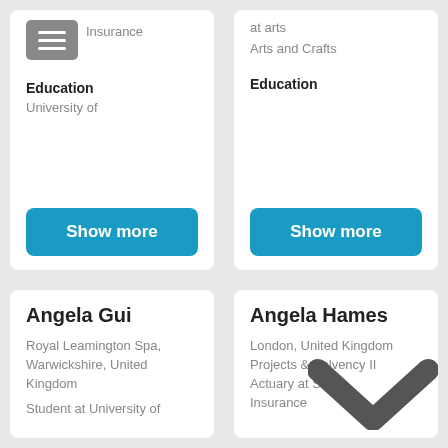Insurance
Education
University of
Show more
at arts
Arts and Crafts
Education
Show more
Angela Gui
Royal Leamington Spa, Warwickshire, United Kingdom
Student at University of
Angela Hames
London, United Kingdom
Projects & Solvency II Actuary at Swiss Re Insurance